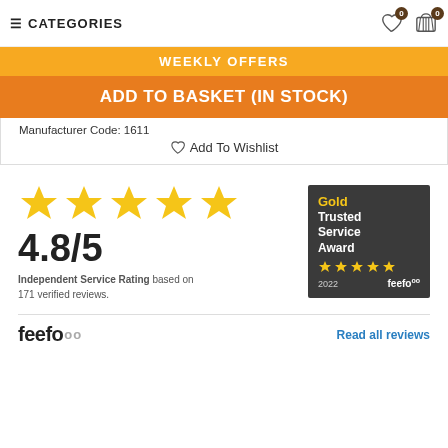CATEGORIES
WEEKLY OFFERS
ADD TO BASKET (IN STOCK)
Manufacturer Code: 1611
Add To Wishlist
[Figure (illustration): Five gold star rating icons and a rating of 4.8/5 with text 'Independent Service Rating based on 171 verified reviews.' and a Gold Trusted Service Award 2022 feefo badge]
feefo  Read all reviews